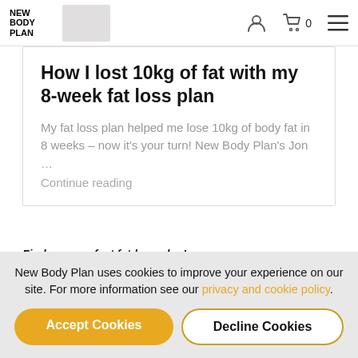NEW BODY PLAN
How I lost 10kg of fat with my 8-week fat loss plan
My fat loss plan helped me lose 10kg of body fat in 8 weeks – now it's your turn! New Body Plan's Jon …
Continue reading
Find your perfect fat-loss plan!
Take the New Body quiz!
New Body Plan uses cookies to improve your experience on our site. For more information see our privacy and cookie policy.
Accept Cookies
Decline Cookies